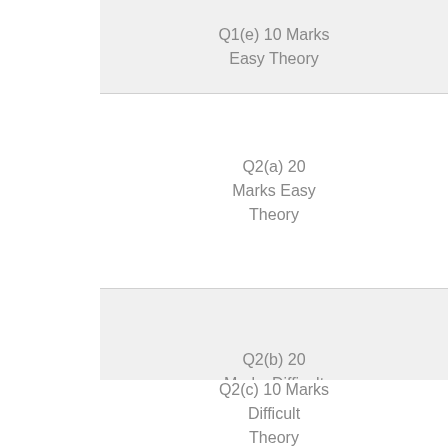Q1(e) 10 Marks Easy Theory
Q2(a) 20 Marks Easy Theory
Q2(b) 20 Marks Difficult Theory
Q2(c) 10 Marks Difficult Theory